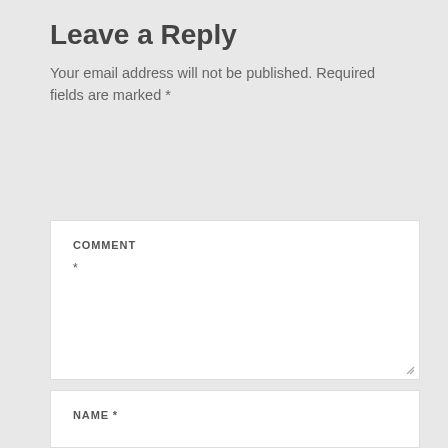Leave a Reply
Your email address will not be published. Required fields are marked *
[Figure (screenshot): Comment text area form field with label COMMENT and asterisk indicating required field, with resize handle in bottom right corner]
[Figure (screenshot): Name input field with label NAME and asterisk indicating required field]